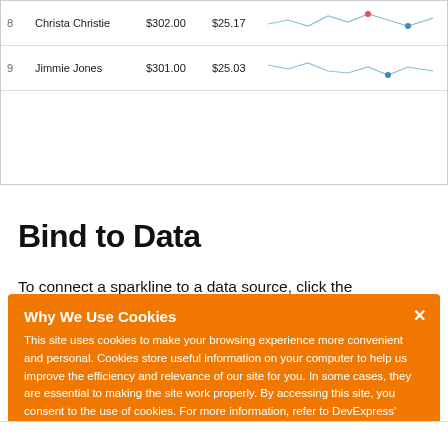| # | Name | Amount | Avg. Sale | Sparkline |
| --- | --- | --- | --- | --- |
| 8 | Christa Christie | $302.00 | $25.17 |  |
| 9 | Jimmie Jones | $301.00 | $25.03 |  |
Bind to Data
To connect a sparkline to a data source, click the
Why We Use Cookies
This site uses cookies to make your browsing experience more convenient and personal. Cookies store useful information on your computer to help us improve the efficiency and relevance of our site for you. In some cases, they are essential to making the site work properly. By accessing this site, you consent to the use of cookies. For more information, refer to DevExpress' privacy policy and cookie policy.
I UNDERSTAND